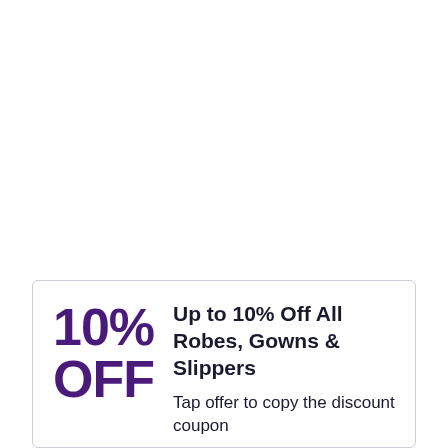Up to 10% Off All Robes, Gowns & Slippers
10% OFF
Tap offer to copy the discount coupon